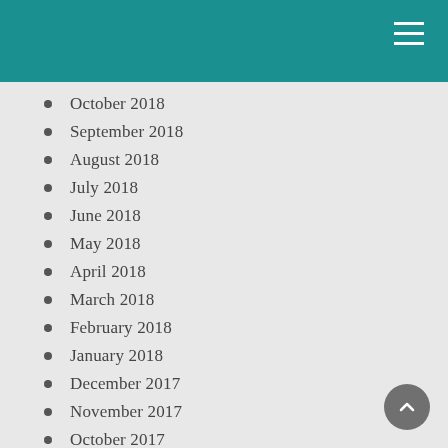October 2018
September 2018
August 2018
July 2018
June 2018
May 2018
April 2018
March 2018
February 2018
January 2018
December 2017
November 2017
October 2017
September 2017
June 2017
May 2017
April 2017